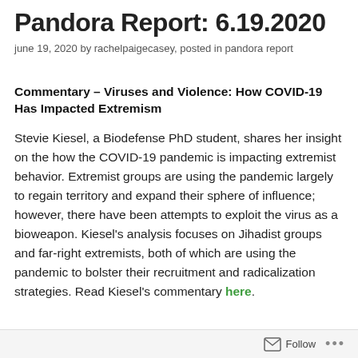Pandora Report: 6.19.2020
june 19, 2020 by rachelpaigecasey, posted in pandora report
Commentary – Viruses and Violence: How COVID-19 Has Impacted Extremism
Stevie Kiesel, a Biodefense PhD student, shares her insight on the how the COVID-19 pandemic is impacting extremist behavior. Extremist groups are using the pandemic largely to regain territory and expand their sphere of influence; however, there have been attempts to exploit the virus as a bioweapon. Kiesel's analysis focuses on Jihadist groups and far-right extremists, both of which are using the pandemic to bolster their recruitment and radicalization strategies. Read Kiesel's commentary here.
Follow